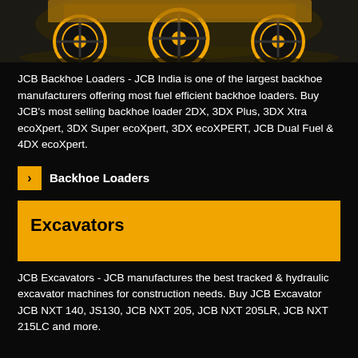[Figure (photo): Top portion of a JCB backhoe loader machine with yellow wheels visible against a dark background]
JCB Backhoe Loaders - JCB India is one of the largest backhoe manufacturers offering most fuel efficient backhoe loaders. Buy JCB's most selling backhoe loader 2DX, 3DX Plus, 3DX Xtra ecoXpert, 3DX Super ecoXpert, 3DX ecoXPERT, JCB Dual Fuel & 4DX ecoXpert.
Backhoe Loaders
Excavators
JCB Excavators - JCB manufactures the best tracked & hydraulic excavator machines for construction needs. Buy JCB Excavator JCB NXT 140, JS130, JCB NXT 205, JCB NXT 205LR, JCB NXT 215LC and more.